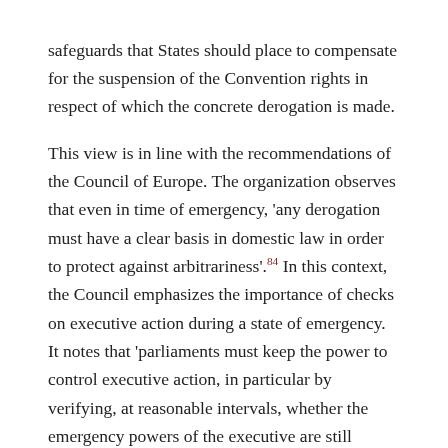safeguards that States should place to compensate for the suspension of the Convention rights in respect of which the concrete derogation is made.
This view is in line with the recommendations of the Council of Europe. The organization observes that even in time of emergency, 'any derogation must have a clear basis in domestic law in order to protect against arbitrariness'.84 In this context, the Council emphasizes the importance of checks on executive action during a state of emergency. It notes that 'parliaments must keep the power to control executive action, in particular by verifying, at reasonable intervals, whether the emergency powers of the executive are still justified, or by intervening on an ad